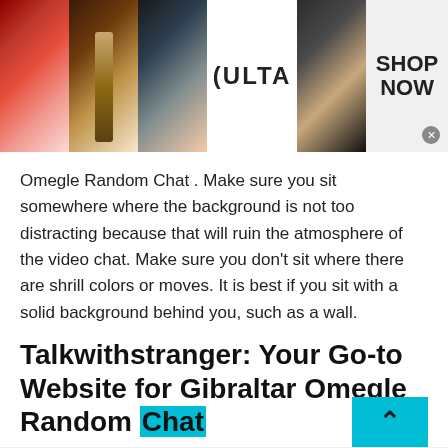[Figure (screenshot): Top advertisement banner showing ULTA Beauty makeup images with 'SHOP NOW' text on right side]
Omegle Random Chat . Make sure you sit somewhere where the background is not too distracting because that will ruin the atmosphere of the video chat. Make sure you don't sit where there are shrill colors or moves. It is best if you sit with a solid background behind you, such as a wall.
Talkwithstranger: Your Go-to Website for Gibraltar Omegle Random Chat
[Figure (screenshot): Fanatics advertisement banner: EXCLUSIVE BONUS EARN 4X FanCash on NFL Hoodies, with SHOP NOW button]